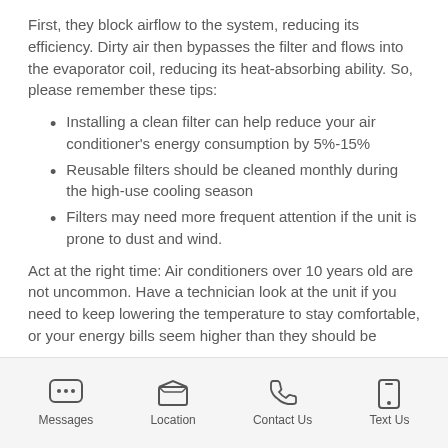First, they block airflow to the system, reducing its efficiency. Dirty air then bypasses the filter and flows into the evaporator coil, reducing its heat-absorbing ability. So, please remember these tips:
Installing a clean filter can help reduce your air conditioner's energy consumption by 5%-15%
Reusable filters should be cleaned monthly during the high-use cooling season
Filters may need more frequent attention if the unit is prone to dust and wind.
Act at the right time: Air conditioners over 10 years old are not uncommon. Have a technician look at the unit if you need to keep lowering the temperature to stay comfortable, or your energy bills seem higher than they should be
Messages | Location | Contact Us | Text Us